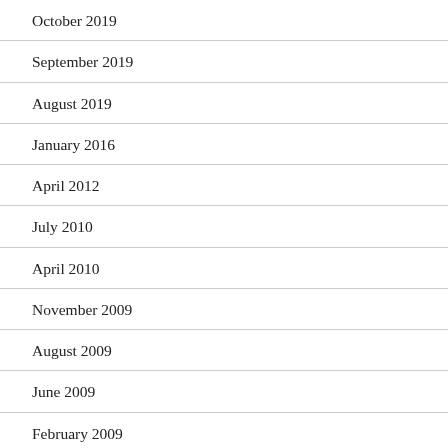October 2019
September 2019
August 2019
January 2016
April 2012
July 2010
April 2010
November 2009
August 2009
June 2009
February 2009